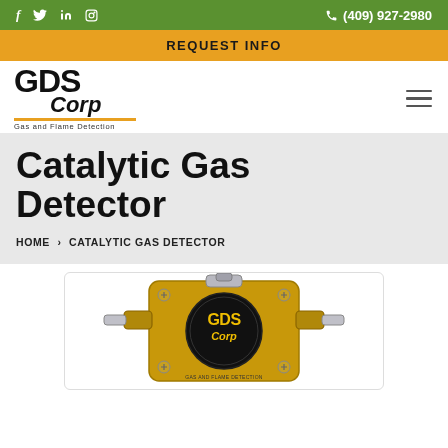f  in  (409) 927-2980
REQUEST INFO
[Figure (logo): GDS Corp Gas and Flame Detection logo with orange underline and tagline]
Catalytic Gas Detector
HOME > CATALYTIC GAS DETECTOR
[Figure (photo): Yellow/gold catalytic gas detector device with GDS Corp branding on black circular face plate]